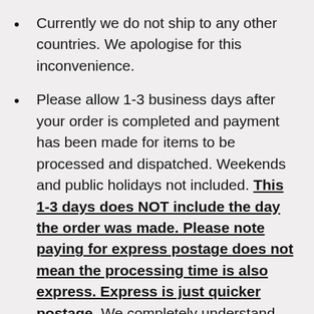Currently we do not ship to any other countries. We apologise for this inconvenience.
Please allow 1-3 business days after your order is completed and payment has been made for items to be processed and dispatched. Weekends and public holidays not included. This 1-3 days does NOT include the day the order was made. Please note paying for express postage does not mean the processing time is also express. Express is just quicker postage. We completely understand that sometimes you may be in a rush for your item and we want to help you get your item in time! Please contact